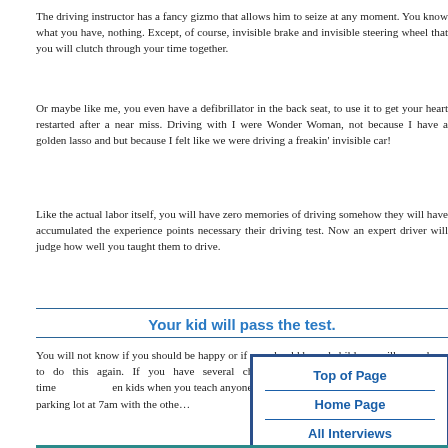The driving instructor has a fancy gizmo that allows him to seize at any moment. You know what you have, nothing. Except, of course, invisible brake and invisible steering wheel that you will clutch through your time together.
Or maybe like me, you even have a defibrillator in the back seat, to use it to get your heart restarted after a near miss. Driving with I were Wonder Woman, not because I have a golden lasso and but because I felt like we were driving a freakin' invisible car!
Like the actual labor itself, you will have zero memories of driving somehow they will have accumulated the experience points necessary their driving test. Now an expert driver will judge how well you taught them to drive.
Your kid will pass the test.
You will not know if you should be happy or if you should be sad child you will never have to do this again. If you have several children likely you will have a blissful time when kids when you teach anyone how to drive. If you will just get up parking lot at 7am with the other...